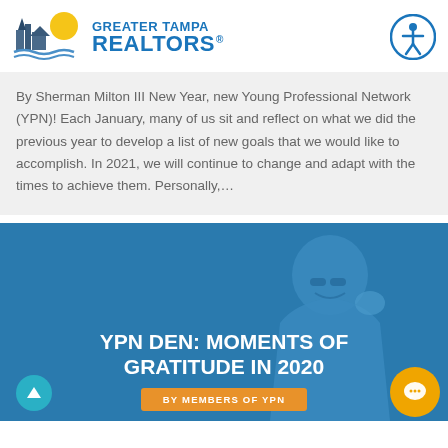GREATER TAMPA REALTORS®
By Sherman Milton III New Year, new Young Professional Network (YPN)! Each January, many of us sit and reflect on what we did the previous year to develop a list of new goals that we would like to accomplish. In 2021, we will continue to change and adapt with the times to achieve them. Personally,…
[Figure (photo): Blue-tinted banner photo of a smiling man in glasses with overlay text 'YPN DEN: MOMENTS OF GRATITUDE IN 2020' and a button reading 'BY MEMBERS OF YPN']